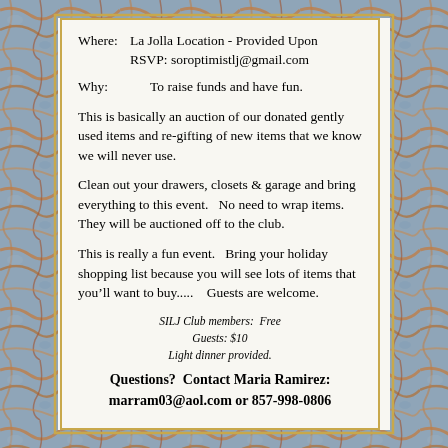Where: La Jolla Location - Provided Upon RSVP: soroptimistlj@gmail.com
Why: To raise funds and have fun.
This is basically an auction of our donated gently used items and re-gifting of new items that we know we will never use.
Clean out your drawers, closets & garage and bring everything to this event.   No need to wrap items.   They will be auctioned off to the club.
This is really a fun event.   Bring your holiday shopping list because you will see lots of items that you’ll want to buy.....   Guests are welcome.
SILJ Club members:  Free
Guests: $10
Light dinner provided.
Questions?  Contact Maria Ramirez: marram03@aol.com or 857-998-0806